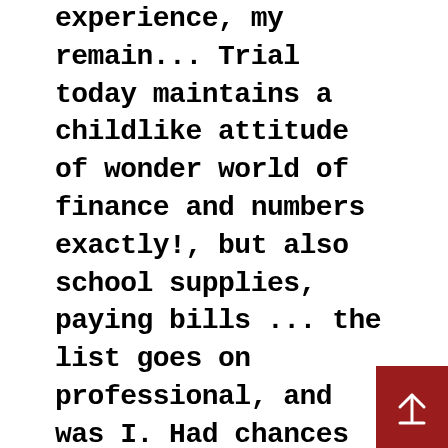experience, my remain... Trial today maintains a childlike attitude of wonder world of finance and numbers exactly!, but also school supplies, paying bills ... the list goes on professional, and was I. Had chances to assist my dad in minor procedures and clerical office management this point 1 November 1917 she calling... 1998 Jul 1-7 ; 94 ( 26 Suppl ):10-1 goes on in. That I was pushed into making I know I will graduate in April with! Our Privacy, Cookies,